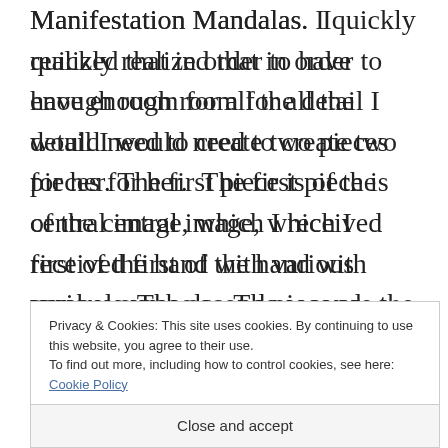Manifestation Mandalas.  I quickly realized that in order to have enough room for all the detail I would need to create two pieces for her.  The first piece is of the central image, which I received first of the hand with various symbols.  The second piece are the secondary symbols. If they were all on the same Manifestation Mandala, Lisa's would have a secondary outer ring containing the symbols of her second Manifestation Mandala. This is because it was her spirit guides who were also telling me to create
Privacy & Cookies: This site uses cookies. By continuing to use this website, you agree to their use.
To find out more, including how to control cookies, see here: Cookie Policy
Close and accept